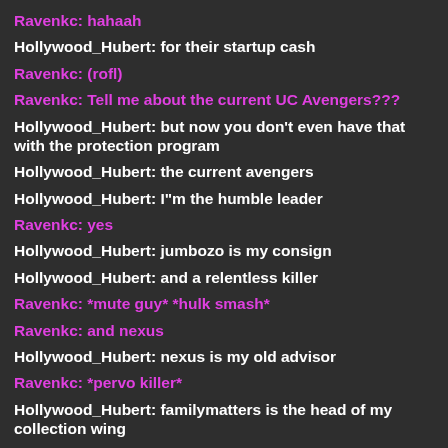Ravenkc: hahaah
Hollywood_Hubert: for their startup cash
Ravenkc: (rofl)
Ravenkc: Tell me about the current UC Avengers???
Hollywood_Hubert: but now you don't even have that with the protection program
Hollywood_Hubert: the current avengers
Hollywood_Hubert: I"m the humble leader
Ravenkc: yes
Hollywood_Hubert: jumbozo is my consign
Hollywood_Hubert: and a relentless killer
Ravenkc: *mute guy* *hulk smash*
Ravenkc: and nexus
Hollywood_Hubert: nexus is my old advisor
Ravenkc: *pervo killer*
Hollywood_Hubert: familymatters is the head of my collection wing